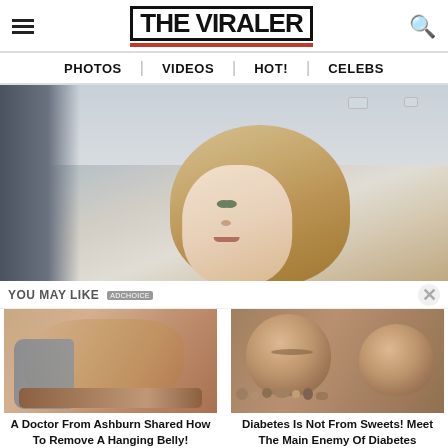THE VIRALER
PHOTOS | VIDEOS | HOT! | CELEBS
[Figure (photo): Young blonde woman taking a selfie in a room with white ceiling and walls]
YOU MAY LIKE
[Figure (photo): Close-up of a person's midsection/belly area]
A Doctor From Ashburn Shared How To Remove A Hanging Belly!
[Figure (photo): Lithops (living stones) succulent plants among pebbles and rocks]
Diabetes Is Not From Sweets! Meet The Main Enemy Of Diabetes